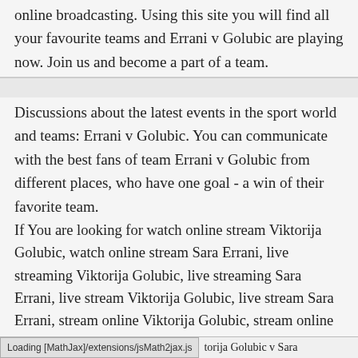online broadcasting. Using this site you will find all your favourite teams and Errani v Golubic are playing now. Join us and become a part of a team.
Discussions about the latest events in the sport world and teams: Errani v Golubic. You can communicate with the best fans of team Errani v Golubic from different places, who have one goal - a win of their favorite team.
If You are looking for watch online stream Viktorija Golubic, watch online stream Sara Errani, live streaming Viktorija Golubic, live streaming Sara Errani, live stream Viktorija Golubic, live stream Sara Errani, stream online Viktorija Golubic, stream online Sara Errani, streaming Viktorija Golubic, streaming Sara Errani, streaming live Viktorija Golubic, streaming live Sara Errani, watch live Viktorija Golubic, watch live Sara Errani, watch stream Viktorija Golubic, watch stream Sara Errani, watch online stream Viktorija Golubic v Sara Errani, live streaming Viktorija
Loading [MathJax]/extensions/jsMath2jax.js    torija Golubic v Sara